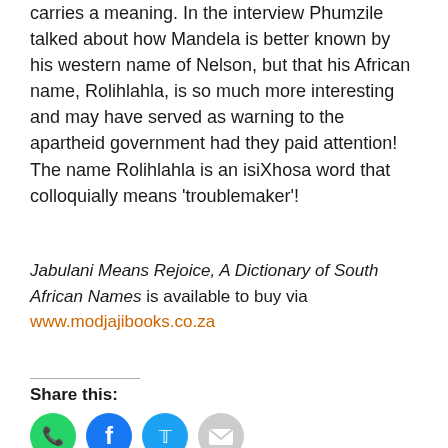carries a meaning. In the interview Phumzile talked about how Mandela is better known by his western name of Nelson, but that his African name, Rolihlahla, is so much more interesting and may have served as warning to the apartheid government had they paid attention! The name Rolihlahla is an isiXhosa word that colloquially means 'troublemaker'!
Jabulani Means Rejoice, A Dictionary of South African Names is available to buy via www.modjajibooks.co.za
Share this: